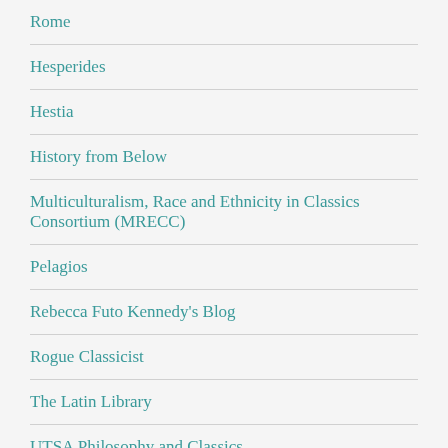Rome
Hesperides
Hestia
History from Below
Multiculturalism, Race and Ethnicity in Classics Consortium (MRECC)
Pelagios
Rebecca Futo Kennedy's Blog
Rogue Classicist
The Latin Library
UTSA Philosophy and Classics